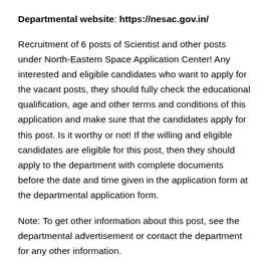Departmental website: https://nesac.gov.in/
Recruitment of 6 posts of Scientist and other posts under North-Eastern Space Application Center! Any interested and eligible candidates who want to apply for the vacant posts, they should fully check the educational qualification, age and other terms and conditions of this application and make sure that the candidates apply for this post. Is it worthy or not! If the willing and eligible candidates are eligible for this post, then they should apply to the department with complete documents before the date and time given in the application form at the departmental application form.
Note: To get other information about this post, see the departmental advertisement or contact the department for any other information.